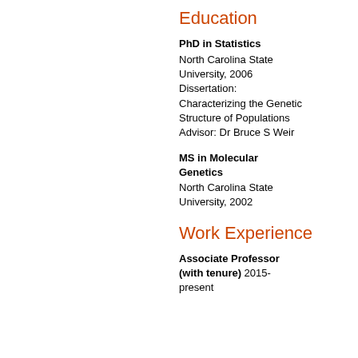Education
PhD in Statistics
North Carolina State University, 2006
Dissertation: Characterizing the Genetic Structure of Populations
Advisor: Dr Bruce S Weir
MS in Molecular Genetics
North Carolina State University, 2002
Work Experience
Associate Professor (with tenure) 2015-present